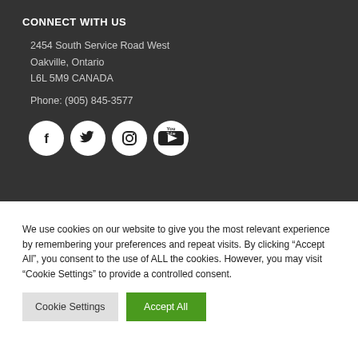CONNECT WITH US
2454 South Service Road West
Oakville, Ontario
L6L 5M9 CANADA
Phone: (905) 845-3577
[Figure (illustration): Four social media icon circles: Facebook (f), Twitter (bird), Instagram (camera), YouTube (play button with 'You Tube' text)]
We use cookies on our website to give you the most relevant experience by remembering your preferences and repeat visits. By clicking “Accept All”, you consent to the use of ALL the cookies. However, you may visit "Cookie Settings" to provide a controlled consent.
Cookie Settings | Accept All